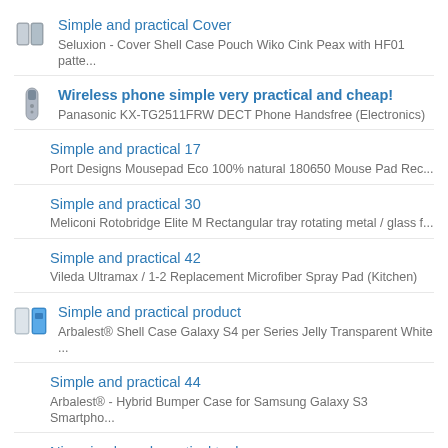Simple and practical Cover
Seluxion - Cover Shell Case Pouch Wiko Cink Peax with HF01 patte...
Wireless phone simple very practical and cheap!
Panasonic KX-TG2511FRW DECT Phone Handsfree (Electronics)
Simple and practical 17
Port Designs Mousepad Eco 100% natural 180650 Mouse Pad Rec...
Simple and practical 30
Meliconi Rotobridge Elite M Rectangular tray rotating metal / glass f...
Simple and practical 42
Vileda Ultramax / 1-2 Replacement Microfiber Spray Pad (Kitchen)
Simple and practical product
Arbalest® Shell Case Galaxy S4 per Series Jelly Transparent White ...
Simple and practical 44
Arbalest® - Hybrid Bumper Case for Samsung Galaxy S3 Smartpho...
Nice simple and practical tool ...
BAUMALU - 450 153 - Fruit juice yellow manual (Kitchen)
beautiful, simple and practical.
Ateliers T4 Crib (Baby Care)
Simple and practical 62
Deciphering the guitar Volume 1 (Paperback)